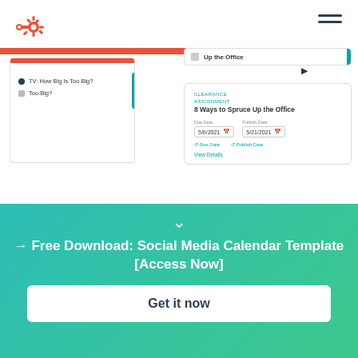[Figure (screenshot): HubSpot marketing calendar interface screenshot showing content cards with orange header bar, a left card with TV How Big is Too Big? item and teal accent, and a right panel showing a detail popup for '8 Ways to Spruce Up the Office' with due date 5/6/2021 and publish date 5/21/2021]
→ Free Download: Social Media Calendar Template [Access Now]
Get it now